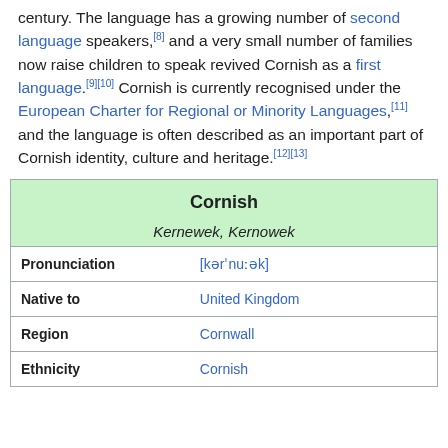century. The language has a growing number of second language speakers,[8] and a very small number of families now raise children to speak revived Cornish as a first language.[9][10] Cornish is currently recognised under the European Charter for Regional or Minority Languages,[11] and the language is often described as an important part of Cornish identity, culture and heritage.[12][13]
|  |  |
| --- | --- |
| Cornish |  |
| Kernewek, Kernowek |  |
| Pronunciation | [kərˈnuːək] |
| Native to | United Kingdom |
| Region | Cornwall |
| Ethnicity | Cornish |